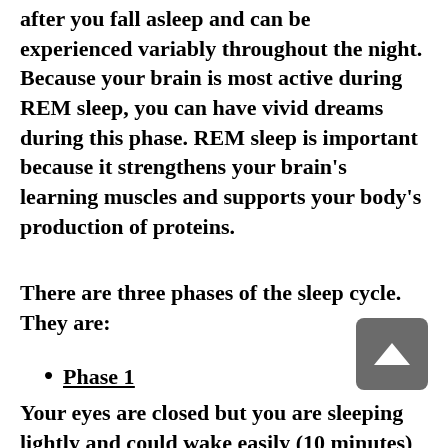after you fall asleep and can be experienced variably throughout the night. Because your brain is most active during REM sleep, you can have vivid dreams during this phase. REM sleep is important because it strengthens your brain's learning muscles and supports your body's production of proteins.
There are three phases of the sleep cycle. They are:
Phase 1
Your eyes are closed but you are sleeping lightly and could wake easily (10 minutes)